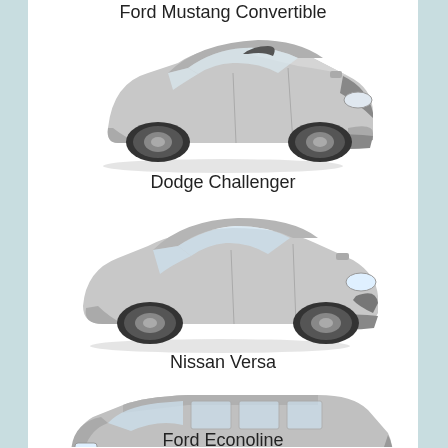Ford Mustang Convertible
[Figure (illustration): Silver Dodge Challenger muscle car illustration, 3/4 front view]
Dodge Challenger
[Figure (illustration): Silver Nissan Versa sedan illustration, 3/4 front view]
Nissan Versa
[Figure (illustration): Silver Ford Econoline van illustration, 3/4 front view]
Ford Econoline